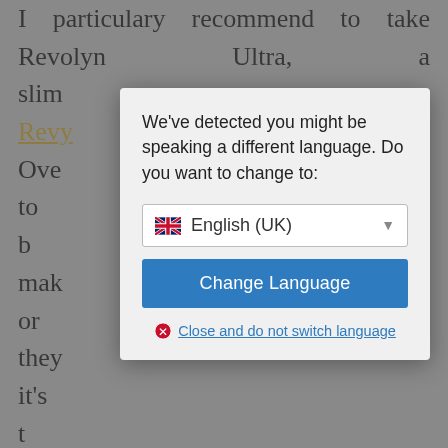I particulary recommend to take Revolyn Ultra, a slimming diet: Revolyn Over want to b lldn't mak y or they oals, it's t olyn Ultra oost ener And don't ses. There's a big difference between logical stretching and yoga. In yoga, you touch every single part of your anatomy by letting your muscles play (think stretching). The idea is not to
[Figure (screenshot): A modal dialog box with a language detection prompt. The dialog says 'We've detected you might be speaking a different language. Do you want to change to:' with a dropdown showing a UK flag and 'English (UK)', a blue 'Change Language' button, and a 'Close and do not switch language' link with a red X icon.]